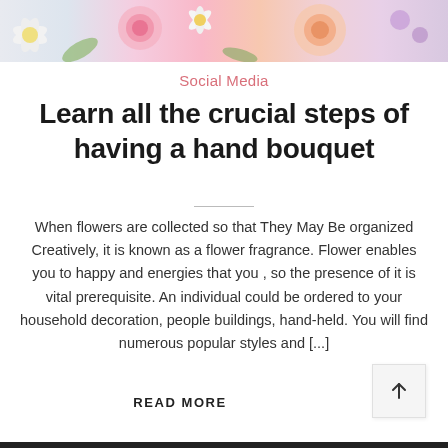[Figure (photo): Floral banner image at the top showing pink, white, and peach flowers including roses and daisies.]
Social Media
Learn all the crucial steps of having a hand bouquet
When flowers are collected so that They May Be organized Creatively, it is known as a flower fragrance. Flower enables you to happy and energies that you , so the presence of it is vital prerequisite. An individual could be ordered to your household decoration, people buildings, hand-held. You will find numerous popular styles and [...]
READ MORE